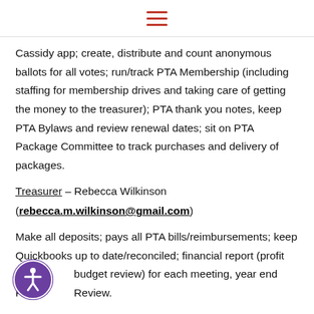≡
Cassidy app; create, distribute and count anonymous ballots for all votes; run/track PTA Membership (including staffing for membership drives and taking care of getting the money to the treasurer); PTA thank you notes, keep PTA Bylaws and review renewal dates; sit on PTA Package Committee to track purchases and delivery of packages.
Treasurer – Rebecca Wilkinson (rebecca.m.wilkinson@gmail.com)
Make all deposits; pays all PTA bills/reimbursements; keep Quickbooks up to date/reconciled; financial report (profit and budget review) for each meeting, year end Financial Review.
[Figure (other): Accessibility icon button — purple circle with white person/wheelchair symbol]